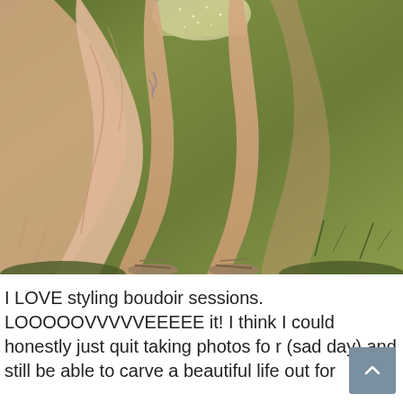[Figure (photo): Outdoor boudoir photography session. A woman in a sparkly top and flowing peach/pink dress/skirt is posed in a grassy field. The image is cropped to show from mid-torso down. She is wearing strappy heeled sandals. The background is green grass.]
I LOVE styling boudoir sessions. LOOOOOVVVVVEEEEE it! I think I could honestly just quit taking photos fo r (sad day) and still be able to carve a beautiful life out for myself with styling alone I am seriously obsessed.